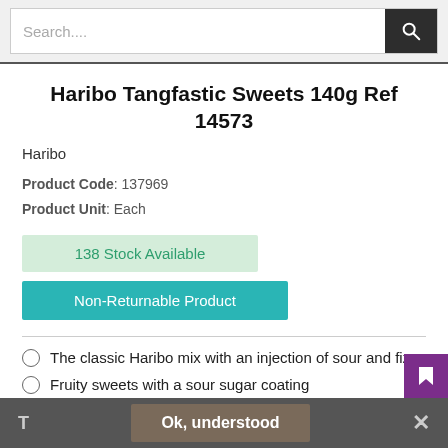[Figure (screenshot): Search bar with text input and dark search button with magnifying glass icon]
Haribo Tangfastic Sweets 140g Ref 14573
Haribo
Product Code: 137969
Product Unit: Each
138 Stock Available
Non-Returnable Product
The classic Haribo mix with an injection of sour and fizz
Fruity sweets with a sour sugar coating
Great for sharing, parties, celebrations and